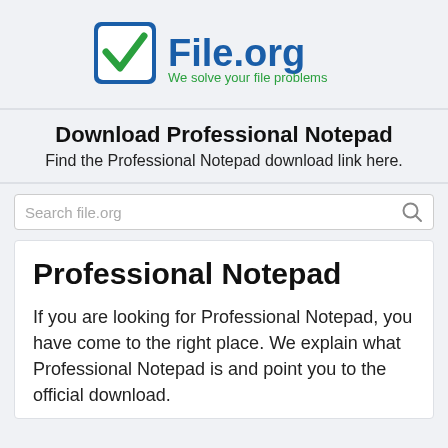[Figure (logo): File.org logo: blue checkbox icon with green checkmark, blue bold 'File.org' text, green subtitle 'We solve your file problems']
Download Professional Notepad
Find the Professional Notepad download link here.
Search file.org
Professional Notepad
If you are looking for Professional Notepad, you have come to the right place. We explain what Professional Notepad is and point you to the official download.